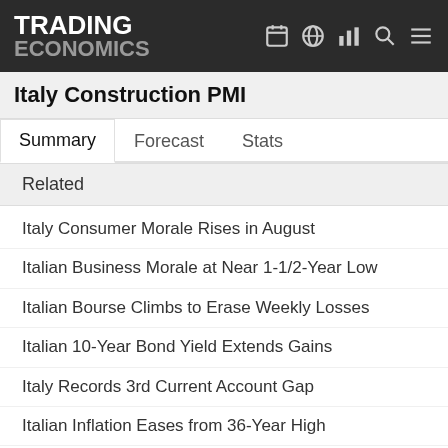TRADING ECONOMICS
Italy Construction PMI
Summary  Forecast  Stats
Related
Italy Consumer Morale Rises in August
Italian Business Morale at Near 1-1/2-Year Low
Italian Bourse Climbs to Erase Weekly Losses
Italian 10-Year Bond Yield Extends Gains
Italy Records 3rd Current Account Gap
Italian Inflation Eases from 36-Year High
Moody's Cuts Italy's Outlook to Negative
Italy Industrial Production Falls More than Expected
Italian Construction Activity Contracts
Italy Private Sector Activity Declines